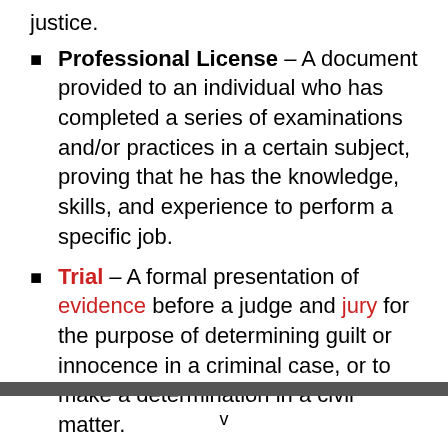justice.
Professional License – A document provided to an individual who has completed a series of examinations and/or practices in a certain subject, proving that he has the knowledge, skills, and experience to perform a specific job.
Trial – A formal presentation of evidence before a judge and jury for the purpose of determining guilt or innocence in a criminal case, or to make a determination in a civil matter.
v